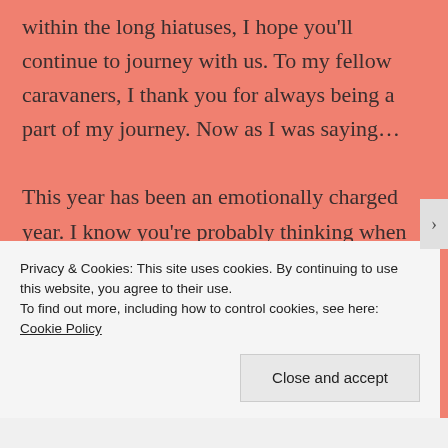within the long hiatuses, I hope you'll continue to journey with us. To my fellow caravaners, I thank you for always being a part of my journey. Now as I was saying...

This year has been an emotionally charged year. I know you're probably thinking when has it not been? When you look at my posts,
Privacy & Cookies: This site uses cookies. By continuing to use this website, you agree to their use.
To find out more, including how to control cookies, see here: Cookie Policy
Close and accept